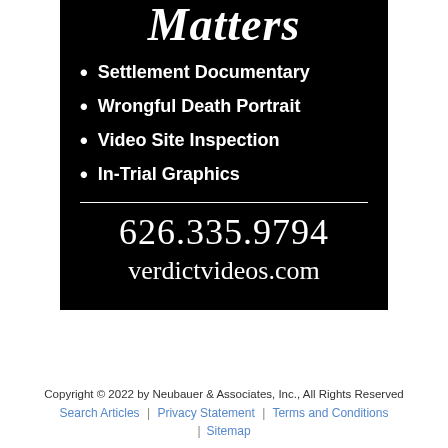[Figure (infographic): Black advertisement box for Verdict Videos showing italic bold 'Matters' title at top, bullet list of services (Settlement Documentary, Wrongful Death Portrait, Video Site Inspection, In-Trial Graphics), a horizontal white divider, phone number 626.335.9794, and website verdictvideos.com]
Copyright © 2022 by Neubauer & Associates, Inc., All Rights Reserved
Search Articles | Privacy Statement | Terms and Conditions
| Sitemap